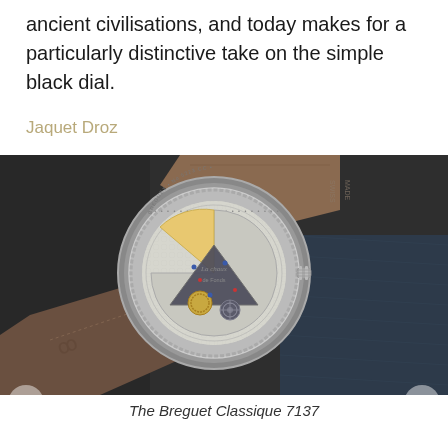ancient civilisations, and today makes for a particularly distinctive take on the simple black dial.
Jaquet Droz
[Figure (photo): Close-up photograph of the back of a luxury watch (Breguet Classique 7137) showing the transparent caseback revealing the mechanical movement with gold and silver components, blue steel screws, and intricate engravings. The watch has a dark leather strap and is placed on a dark textured surface.]
The Breguet Classique 7137